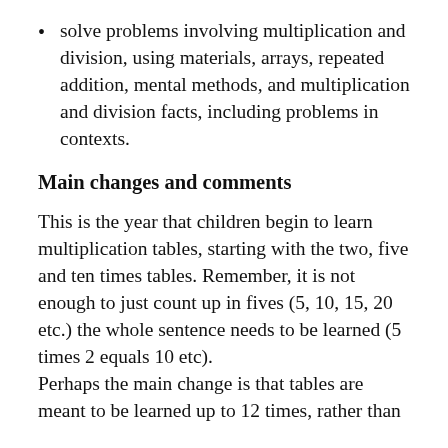solve problems involving multiplication and division, using materials, arrays, repeated addition, mental methods, and multiplication and division facts, including problems in contexts.
Main changes and comments
This is the year that children begin to learn multiplication tables, starting with the two, five and ten times tables. Remember, it is not enough to just count up in fives (5, 10, 15, 20 etc.) the whole sentence needs to be learned (5 times 2 equals 10 etc).
Perhaps the main change is that tables are meant to be learned up to 12 times, rather than